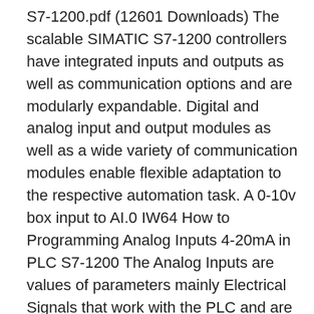S7-1200.pdf (12601 Downloads) The scalable SIMATIC S7-1200 controllers have integrated inputs and outputs as well as communication options and are modularly expandable. Digital and analog input and output modules as well as a wide variety of communication modules enable flexible adaptation to the respective automation task. A 0-10v box input to AI.0 IW64 How to Programming Analog Inputs 4-20mA in PLC S7-1200 The Analog Inputs are values of parameters mainly Electrical Signals that work with the PLC and are Outputs from Sensors (Transmitters) by Current (0-20mA/4-20mA) or by Volts (0-10V), this value is Scaled in PLC Software and then we have a Real Value very similar to Sensor Value small plc SIMATIC S7-1200, ANALOG INPUT, SM 1231, 4 AI, +/-10V, +/-5V, +/-2.5V, OR 0-20 MA 12 BIT + SIGN BIT (13 BIT ADC) Analog